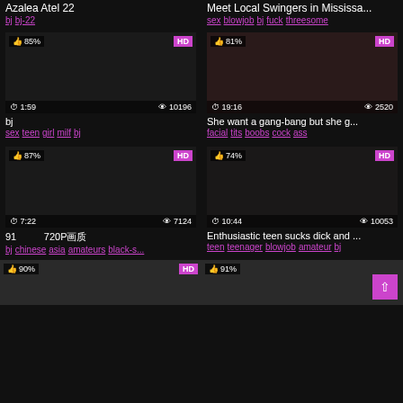Azalea Atel 22
bj bj-22
Meet Local Swingers in Mississa...
sex blowjob bj fuck threesome
[Figure (photo): Video thumbnail with 85% like rating, 1:59 duration, 10196 views, HD badge]
bj
sex teen girl milf bj
[Figure (photo): Video thumbnail with 81% like rating, 19:16 duration, 2520 views, HD badge]
She want a gang-bang but she g...
facial tits boobs cock ass
[Figure (photo): Video thumbnail with 87% like rating, 7:22 duration, 7124 views, HD badge]
91  720P画质
bj chinese asia amateurs black-s...
[Figure (photo): Video thumbnail with 74% like rating, 10:44 duration, 10053 views, HD badge]
Enthusiastic teen sucks dick and ...
teen teenager blowjob amateur bj
[Figure (photo): Partial video thumbnail with 90% like rating, HD badge]
[Figure (photo): Partial video thumbnail with 91% like rating, scroll-to-top button]